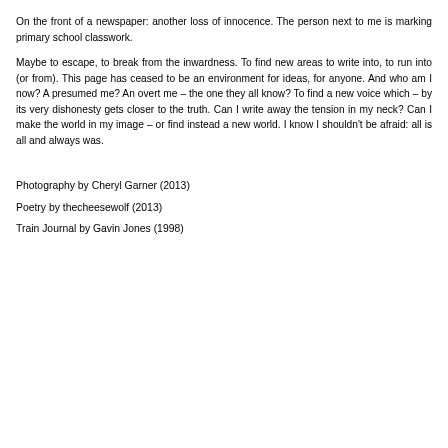On the front of a newspaper: another loss of innocence. The person next to me is marking primary school classwork.
Maybe to escape, to break from the inwardness. To find new areas to write into, to run into (or from). This page has ceased to be an environment for ideas, for anyone. And who am I now? A presumed me? An overt me – the one they all know? To find a new voice which – by its very dishonesty gets closer to the truth. Can I write away the tension in my neck? Can I make the world in my image – or find instead a new world. I know I shouldn't be afraid: all is all and always was.
Photography by Cheryl Garner (2013)
Poetry by thecheesewolf (2013)
Train Journal by Gavin Jones (1998)